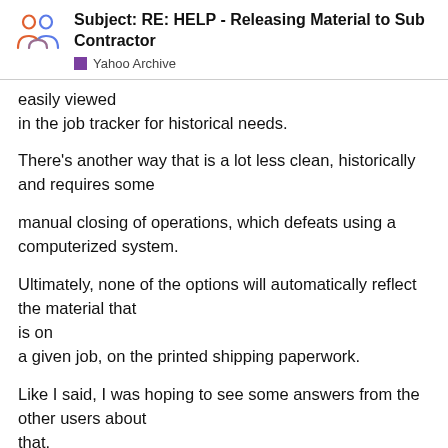Subject: RE: HELP - Releasing Material to Sub Contractor
Yahoo Archive
easily viewed
in the job tracker for historical needs.

There's another way that is a lot less clean, historically and requires some

manual closing of operations, which defeats using a computerized system.

Ultimately, none of the options will automatically reflect the material that
is on
a given job, on the printed shipping paperwork.

Like I said, I was hoping to see some answers from the other users about
that.
I'll keep watching. Let us know if you discover something.
Thanks for bringing up the subject. By the way, we did ask